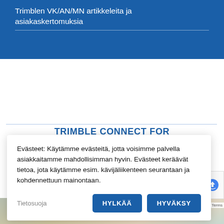Trimblen VK/AN/MN artikkeleita ja asiakaskertomuksia
TRIMBLE CONNECT FOR HOLOLENS 2
Evästeet: Käytämme evästeitä, jotta voisimme palvella asiakkaitamme mahdollisimman hyvin. Evästeet keräävät tietoa, jota käytämme esim. kävijäliikenteen seurantaan ja kohdennettuun mainontaan.
Tietosuoja
HYLKÄÄ
HYVÄKSY